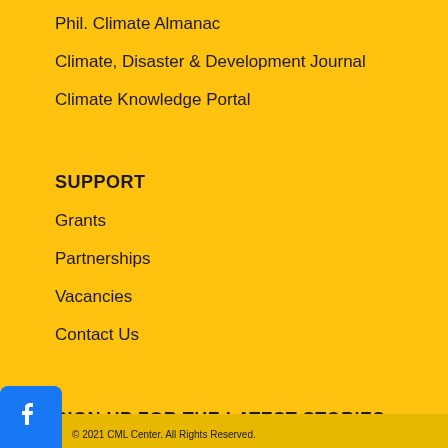Phil. Climate Almanac
Climate, Disaster & Development Journal
Climate Knowledge Portal
SUPPORT
Grants
Partnerships
Vacancies
Contact Us
SIGN UP FOR THE LATEST STORIES
STAY CONNECTED
[Figure (other): Social media icons: Facebook, Twitter, YouTube, LinkedIn]
© 2021 CML Center. All Rights Reserved.